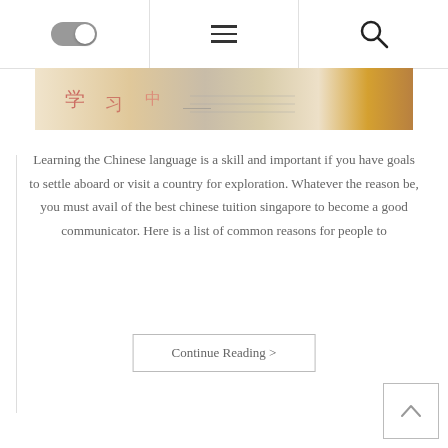[Figure (screenshot): Website navigation bar with toggle switch on left, hamburger menu in center, and search icon on right]
[Figure (photo): Partial photo of Chinese language learning materials including papers with Chinese characters and a person in yellow clothing]
Learning the Chinese language is a skill and important if you have goals to settle aboard or visit a country for exploration. Whatever the reason be, you must avail of the best chinese tuition singapore to become a good communicator. Here is a list of common reasons for people to
Continue Reading >
[Figure (other): Back to top button with upward chevron arrow]